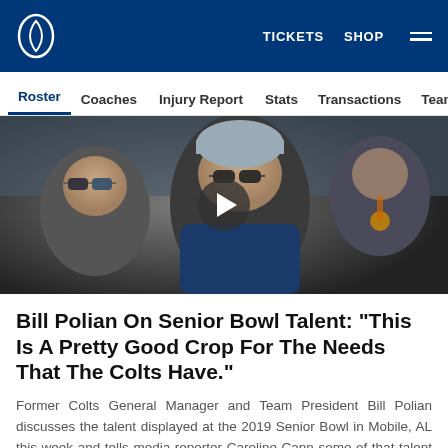TICKETS  SHOP
Roster  Coaches  Injury Report  Stats  Transactions  Team His
[Figure (screenshot): Video thumbnail showing a man wearing sunglasses and a beanie hat at what appears to be the 2019 Senior Bowl event, with a play button overlay in the center]
Bill Polian On Senior Bowl Talent: "This Is A Pretty Good Crop For The Needs That The Colts Have."
Former Colts General Manager and Team President Bill Polian discusses the talent displayed at the 2019 Senior Bowl in Mobile, AL this week and tells media reporter Caroline Cann some of that talent could help fill the Colts needs in this year’s NFL Draft.